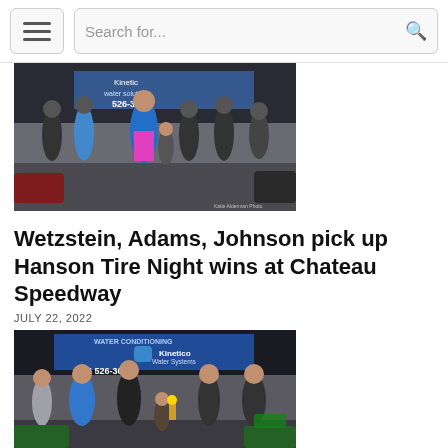Menu | Search for...
[Figure (photo): Group of people posing together at a race track in front of a Kinetico water systems banner, with a race car driver in a blue and pink racing suit in the center]
Wetzstein, Adams, Johnson pick up Hanson Tire Night wins at Chateau Speedway
JULY 22, 2022
[Figure (photo): Group of people posing at a race track with a Kinetico Water Systems banner in the background, including adults and children, one holding a trophy]